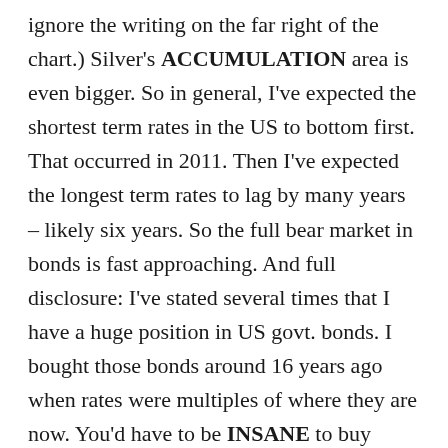ignore the writing on the far right of the chart.) Silver's ACCUMULATION area is even bigger. So in general, I've expected the shortest term rates in the US to bottom first. That occurred in 2011. Then I've expected the longest term rates to lag by many years – likely six years. So the full bear market in bonds is fast approaching. And full disclosure: I've stated several times that I have a huge position in US govt. bonds. I bought those bonds around 16 years ago when rates were multiples of where they are now. You'd have to be INSANE to buy bonds now for more than just a trade. I have not yet sold any of those bonds, but I have hedged them short term at times. I realize that one of these highs (in price) is now going to be THE all time high in bonds